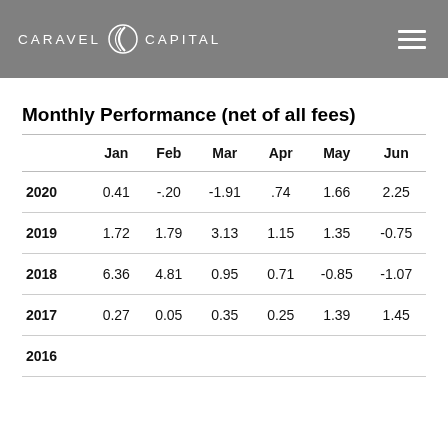Caravel Capital
Monthly Performance (net of all fees)
|  | Jan | Feb | Mar | Apr | May | Jun |
| --- | --- | --- | --- | --- | --- | --- |
| 2020 | 0.41 | -.20 | -1.91 | .74 | 1.66 | 2.25 |
| 2019 | 1.72 | 1.79 | 3.13 | 1.15 | 1.35 | -0.75 |
| 2018 | 6.36 | 4.81 | 0.95 | 0.71 | -0.85 | -1.07 |
| 2017 | 0.27 | 0.05 | 0.35 | 0.25 | 1.39 | 1.45 |
| 2016 |  |  |  |  |  |  |